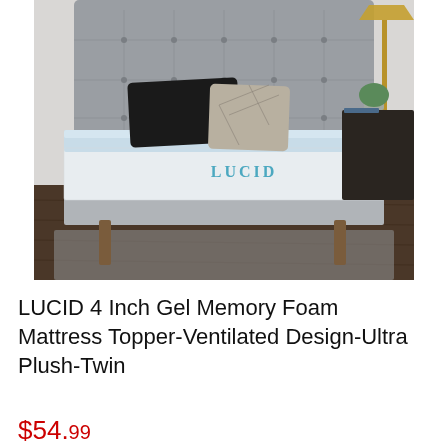[Figure (photo): Product photo of a LUCID 4 inch gel memory foam mattress topper placed on a bed with gray upholstered headboard, black and patterned pillows, wooden bed frame on a dark wood floor with a nightstand and lamp in the background.]
LUCID 4 Inch Gel Memory Foam Mattress Topper-Ventilated Design-Ultra Plush-Twin
$54.99